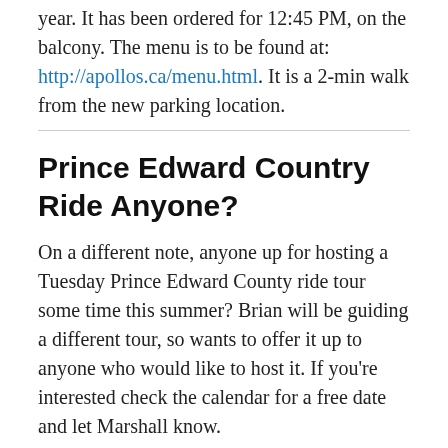year. It has been ordered for 12:45 PM, on the balcony. The menu is to be found at: http://apollos.ca/menu.html. It is a 2-min walk from the new parking location.
Prince Edward Country Ride Anyone?
On a different note, anyone up for hosting a Tuesday Prince Edward County ride tour some time this summer? Brian will be guiding a different tour, so wants to offer it up to anyone who would like to host it. If you're interested check the calendar for a free date and let Marshall know.
Share this:
[Figure (other): Facebook share button with Facebook logo icon]